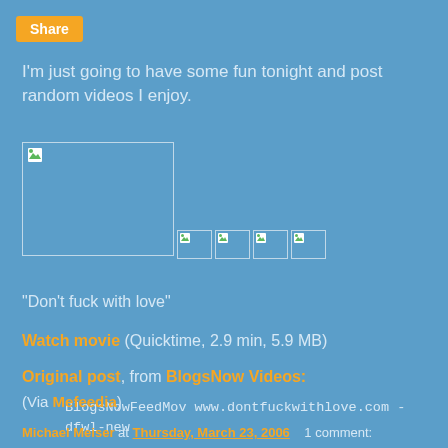Share
I'm just going to have some fun tonight and post random videos I enjoy.
[Figure (screenshot): Broken image placeholder (large) and four small broken image thumbnails below it]
"Don't fuck with love"
Watch movie (Quicktime, 2.9 min, 5.9 MB)
Original post, from BlogsNow Videos:
BlogsNowFeedMov www.dontfuckwithlove.com - dfwl-new
(Via Mefeedia)
Michael Meiser at Thursday, March 23, 2006   1 comment: